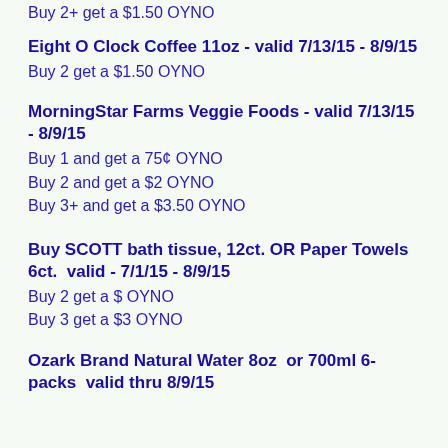Buy 2+ get a $1.50 OYNO
Eight O Clock Coffee 11oz - valid 7/13/15 - 8/9/15
Buy 2 get a $1.50 OYNO
MorningStar Farms Veggie Foods - valid 7/13/15 - 8/9/15
Buy 1 and get a 75¢ OYNO
Buy 2 and get a $2 OYNO
Buy 3+ and get a $3.50 OYNO
Buy SCOTT bath tissue, 12ct. OR Paper Towels 6ct.  valid - 7/1/15 - 8/9/15
Buy 2 get a $ OYNO
Buy 3 get a $3 OYNO
Ozark Brand Natural Water 8oz  or 700ml 6-packs  valid thru 8/9/15